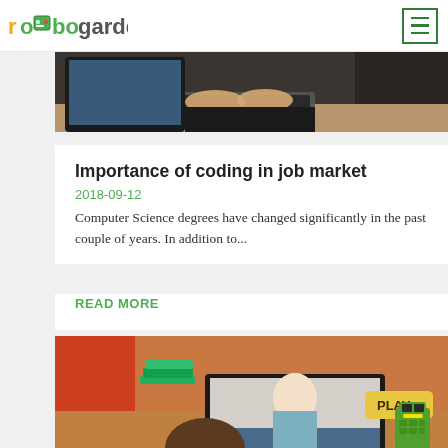robogarden
[Figure (photo): Close-up of hands typing on a keyboard with monitor and equipment in background]
Importance of coding in job market
2018-09-12
Computer Science degrees have changed significantly in the past couple of years. In addition to...
READ MORE
[Figure (photo): Child viewing a video call with a woman teacher on a laptop screen, with colorful school supplies in background and a robot toy with PLAY button]